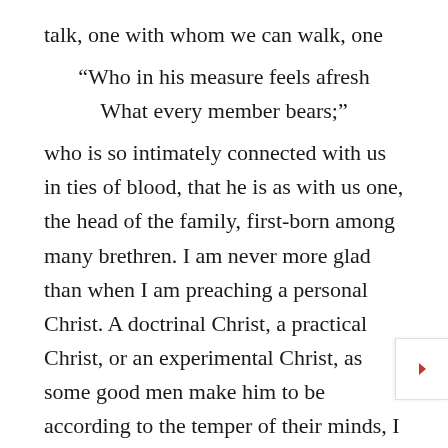talk, one with whom we can walk, one
“Who in his measure feels afresh
What every member bears;”
who is so intimately connected with us in ties of blood, that he is as with us one, the head of the family, first-born among many brethren. I am never more glad than when I am preaching a personal Christ. A doctrinal Christ, a practical Christ, or an experimental Christ, as some good men make him to be according to the temper of their minds, I do not feel to be sufficient for the needs of God’s W...